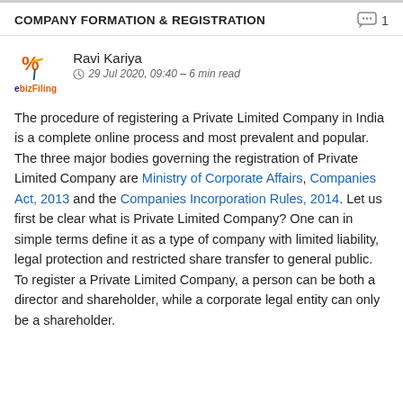COMPANY FORMATION & REGISTRATION
Ravi Kariya
29 Jul 2020, 09:40 – 6 min read
The procedure of registering a Private Limited Company in India is a complete online process and most prevalent and popular. The three major bodies governing the registration of Private Limited Company are Ministry of Corporate Affairs, Companies Act, 2013 and the Companies Incorporation Rules, 2014. Let us first be clear what is Private Limited Company? One can in simple terms define it as a type of company with limited liability, legal protection and restricted share transfer to general public. To register a Private Limited Company, a person can be both a director and shareholder, while a corporate legal entity can only be a shareholder.